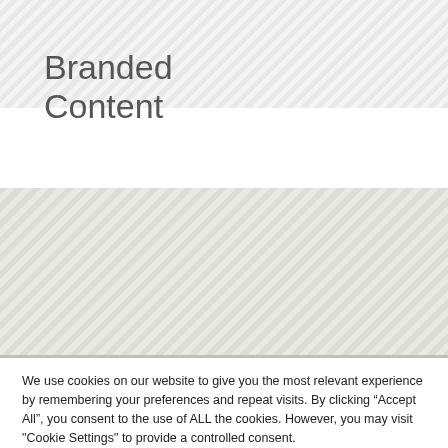Branded Content
Partner with us now
Sport
We use cookies on our website to give you the most relevant experience by remembering your preferences and repeat visits. By clicking “Accept All”, you consent to the use of ALL the cookies. However, you may visit "Cookie Settings" to provide a controlled consent.